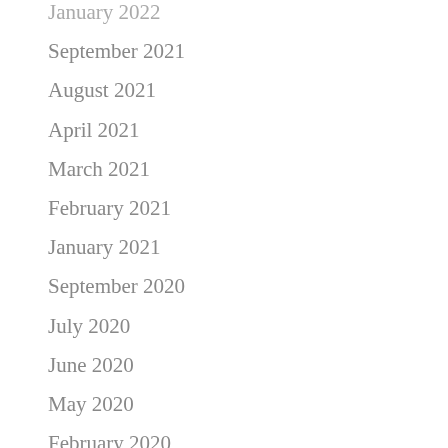January 2022
September 2021
August 2021
April 2021
March 2021
February 2021
January 2021
September 2020
July 2020
June 2020
May 2020
February 2020
November 2019
October 2019
September 2019